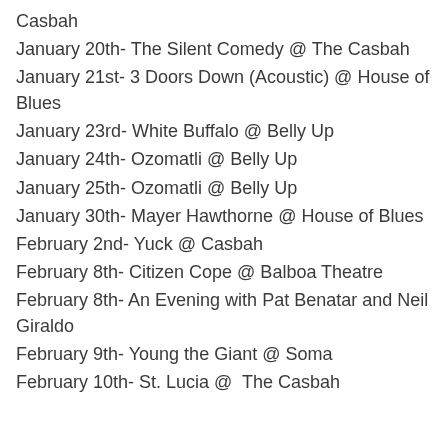Casbah
January 20th- The Silent Comedy @ The Casbah
January 21st- 3 Doors Down (Acoustic) @ House of Blues
January 23rd- White Buffalo @ Belly Up
January 24th- Ozomatli @ Belly Up
January 25th- Ozomatli @ Belly Up
January 30th- Mayer Hawthorne @ House of Blues
February 2nd- Yuck @ Casbah
February 8th- Citizen Cope @ Balboa Theatre
February 8th- An Evening with Pat Benatar and Neil Giraldo
February 9th- Young the Giant @ Soma
February 10th- St. Lucia @  The Casbah